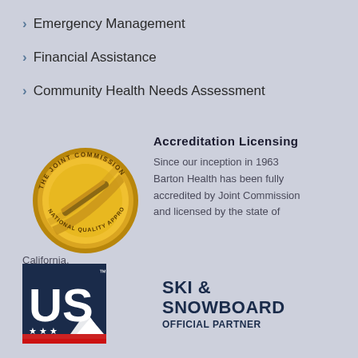Emergency Management
Financial Assistance
Community Health Needs Assessment
Accreditation Licensing
Since our inception in 1963 Barton Health has been fully accredited by Joint Commission and licensed by the state of California.
[Figure (logo): The Joint Commission National Quality Approval gold medal seal]
[Figure (logo): US Ski & Snowboard Official Partner logo]